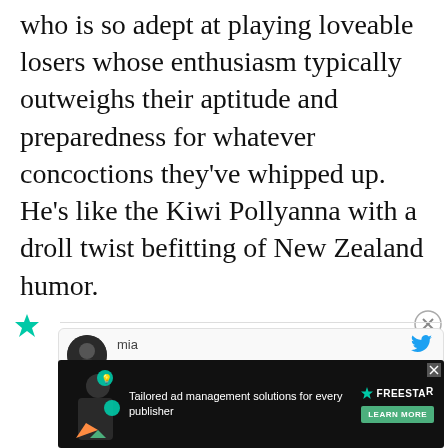who is so adept at playing loveable losers whose enthusiasm typically outweighs their aptitude and preparedness for whatever concoctions they've whipped up. He's like the Kiwi Pollyanna with a droll twist befitting of New Zealand humor.
[Figure (screenshot): A comment section partial view showing a user named 'mia' with a Twitter icon, avatar, and partially visible comment text. Below is an advertisement banner for 'Tailored ad management solutions for every publisher' by FREESTAR with a LEARN MORE button.]